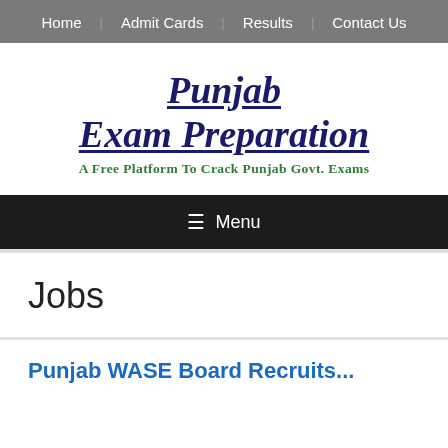Home | Admit Cards | Results | Contact Us
[Figure (logo): Punjab Exam Preparation logo — bold italic dark blue serif text with underline, subtitle in green: A Free Platform To Crack Punjab Govt. Exams]
☰ Menu
Jobs
Punjab WASE Board Recruits...